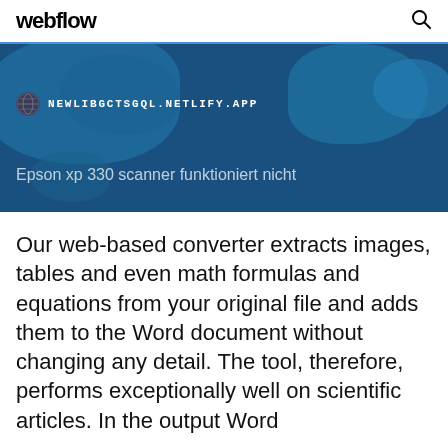webflow
[Figure (screenshot): Hero banner with dark blue world map background showing URL bar with globe icon and text NEWLIBGCTSGQL.NETLIFY.APP, and subtitle text 'Epson xp 330 scanner funktioniert nicht']
Our web-based converter extracts images, tables and even math formulas and equations from your original file and adds them to the Word document without changing any detail. The tool, therefore, performs exceptionally well on scientific articles. In the output Word